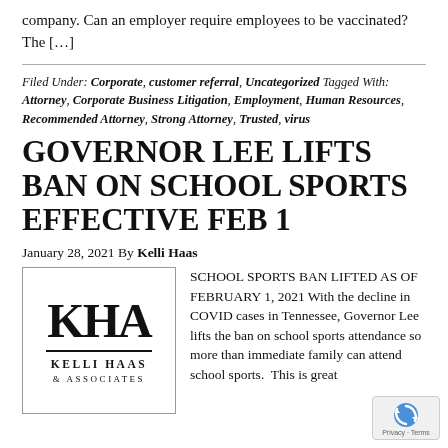company. Can an employer require employees to be vaccinated? The […]
Filed Under: Corporate, customer referral, Uncategorized Tagged With: Attorney, Corporate Business Litigation, Employment, Human Resources, Recommended Attorney, Strong Attorney, Trusted, virus
GOVERNOR LEE LIFTS BAN ON SCHOOL SPORTS EFFECTIVE FEB 1
January 28, 2021 By Kelli Haas
[Figure (logo): KHA Kelli Haas & Associates law firm logo]
SCHOOL SPORTS BAN LIFTED AS OF FEBRUARY 1, 2021 With the decline in COVID cases in Tennessee, Governor Lee lifts the ban on school sports attendance so more than immediate family can attend school sports. This is great